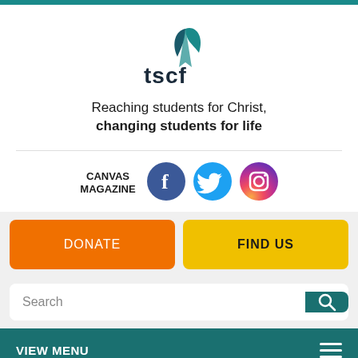[Figure (logo): TSCF logo with teal leaf/flame symbol and 'tscf' text]
Reaching students for Christ, changing students for life
CANVAS MAGAZINE
[Figure (logo): Facebook, Twitter, and Instagram social media icons]
DONATE
FIND US
Search
VIEW MENU
[Figure (logo): Facebook icon in rounded blue bar at bottom]